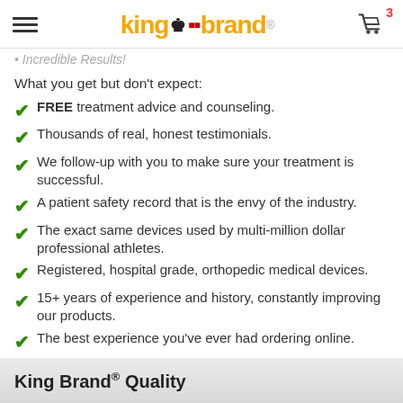King Brand® [logo] [cart: 3]
Incredible Results! (partial, cut off)
What you get but don't expect:
FREE treatment advice and counseling.
Thousands of real, honest testimonials.
We follow-up with you to make sure your treatment is successful.
A patient safety record that is the envy of the industry.
The exact same devices used by multi-million dollar professional athletes.
Registered, hospital grade, orthopedic medical devices.
15+ years of experience and history, constantly improving our products.
The best experience you've ever had ordering online.
King Brand® Quality